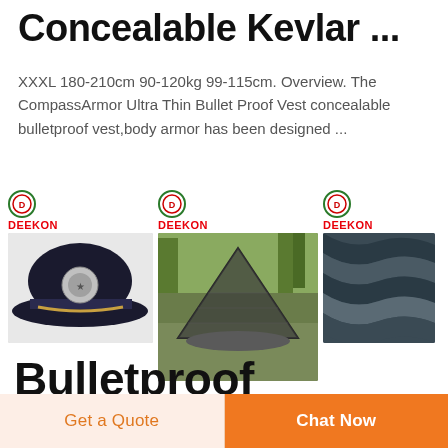Concealable Kevlar ...
XXXL 180-210cm 90-120kg 99-115cm. Overview. The CompassArmor Ultra Thin Bullet Proof Vest concealable bulletproof vest,body armor has been designed ...
[Figure (photo): Three product images with DEEKON branding: a police officer cap/hat, a military mosquito net tent outdoors, and dark folded fabric material]
Bulletproof Polythene Is 40% Stronger Than Kevlar | Now...
Get a Quote
Chat Now